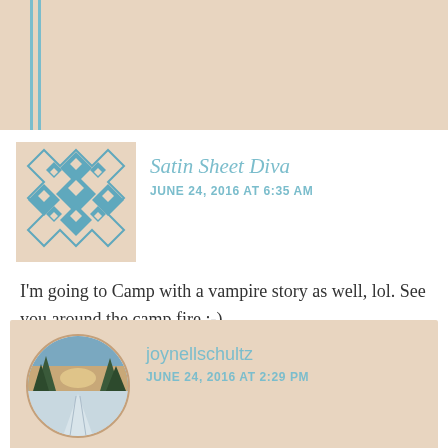[Figure (other): Top portion of a previous comment with indentation bars on left]
[Figure (other): Satin Sheet Diva avatar with teal diamond/tile pattern on beige background]
Satin Sheet Diva
JUNE 24, 2016 AT 6:35 AM
I'm going to Camp with a vampire story as well, lol. See you around the camp fire ;-).
Liked by 2 people
REPLY
[Figure (photo): joynellschultz avatar: circular photo of snowy winter road with trees and sky at dusk]
joynellschultz
JUNE 24, 2016 AT 2:29 PM
Fantastic! I'm so glad I'm not the only writing a vampire story. I was hesitant to do it, but who cares? It will be fun. I can't wait to see